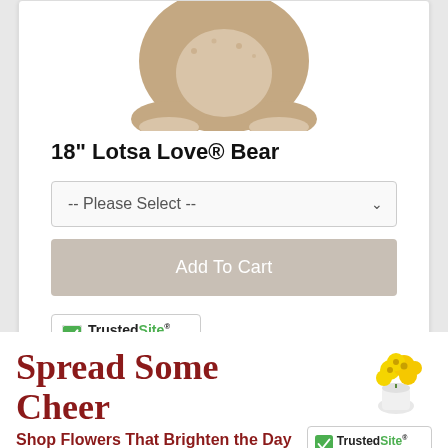[Figure (photo): Partial view of a teddy bear (bottom portion showing legs/feet) — 18 inch Lotsa Love Bear product image]
18" Lotsa Love® Bear
[Figure (screenshot): -- Please Select -- dropdown selector for bear options]
[Figure (screenshot): Add To Cart button, greyed out]
[Figure (logo): TrustedSite Certified Secure badge]
Spread Some Cheer
Shop Flowers That Brighten the Day
[Figure (photo): Yellow flowers in a white vase]
[Figure (logo): TrustedSite Certified Secure badge (partial)]